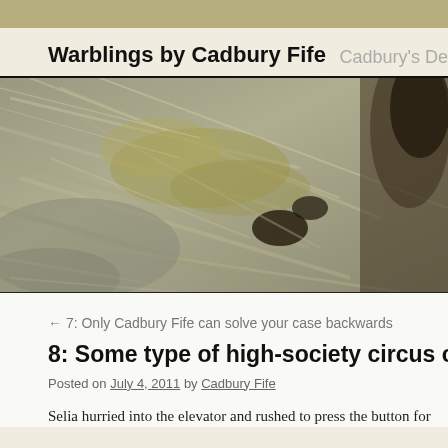Warblings by Cadbury Fife   Cadbury's De
[Figure (photo): Close-up photograph of a bird with mottled brown, gray, and olive plumage feathers visible in detail]
← 7: Only Cadbury Fife can solve your case backwards
8: Some type of high-society circus clow
Posted on July 4, 2011 by Cadbury Fife
Selia hurried into the elevator and rushed to press the button for